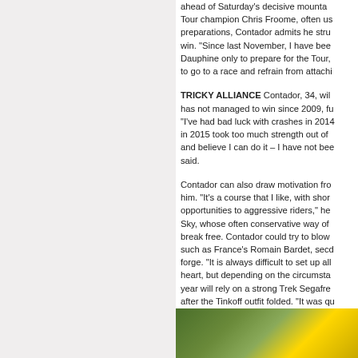ahead of Saturday's decisive mountain stage. Four-time Tour champion Chris Froome, often uses altitude for his preparations, Contador admits he struggled to hold back to win. "Since last November, I have been riding, went to the Dauphine only to prepare for the Tour, but it was very hard to go to a race and refrain from attacking."
TRICKY ALLIANCE Contador, 34, will be racing at a Tour he has not managed to win since 2009, fuelling his motivation. "I've had bad luck with crashes in 2014, and the Vuelta win in 2015 took too much strength out of me. But I am confident and believe I can do it – I have not been this prepared," he said.
Contador can also draw motivation from the course suiting him. "It's a course that I like, with short climbs that offer opportunities to aggressive riders," he said, a dig at Team Sky, whose often conservative way of racing is harder to break free. Contador could try to blow up an alliance with such as France's Romain Bardet, second last year, to forge. "It is always difficult to set up alliances in the heart, but depending on the circumstances..." He this year will rely on a strong Trek Segafredo team, re-built after the Tinkoff outfit folded. "It was quite a change for who are new to the team," he said.
CONTADOR HOME SAFE IN ST
March 9, 2017 - Greipel gets the win on... Contador finishes s.t.
[Figure (photo): Photo at bottom of page showing cyclists, green and yellow jerseys visible]